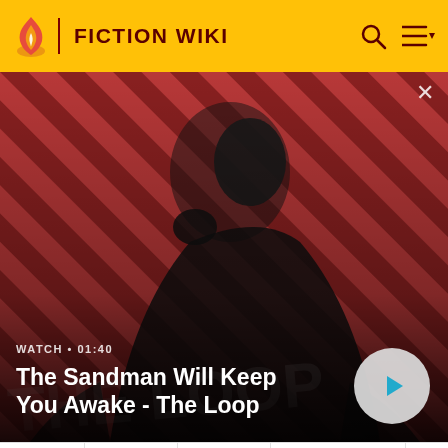FICTION WIKI
[Figure (screenshot): Video banner for 'The Sandman Will Keep You Awake - The Loop' on Fiction Wiki. Dark-clad figure with a raven on shoulder against a red and black diagonal striped background. Watch duration 01:40 shown. Play button in bottom right.]
WATCH • 01:40
The Sandman Will Keep You Awake - The Loop
A Shot in the Dark). Once again, many former Panther co-stars return - Herbert Lom,